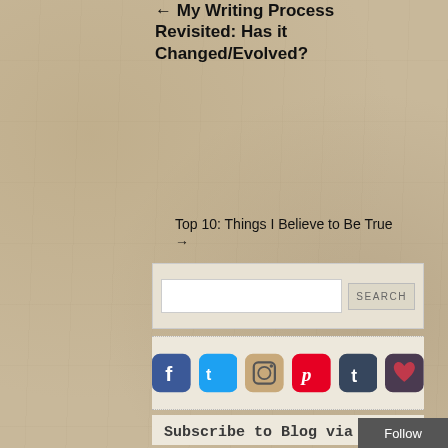← My Writing Process Revisited: Has it Changed/Evolved?
Top 10: Things I Believe to Be True →
[Figure (screenshot): Search box with text input and SEARCH button]
[Figure (infographic): Social media icons: Facebook, Twitter, Instagram, Pinterest, Tumblr, and a heart/bookmark icon]
Subscribe to Blog via Email
Enter your email address to subscribe to this blog and receive notifications of new
Follow